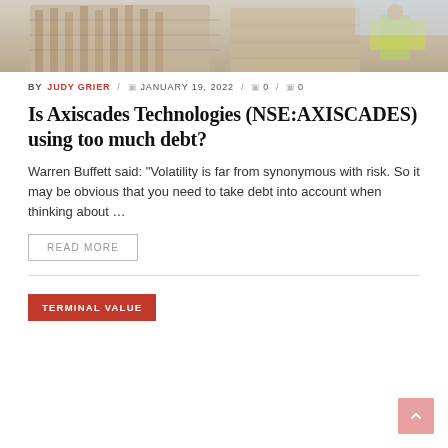[Figure (photo): Hero image showing a construction site with scaffolding and a worker in a yellow safety vest]
BY JUDY GRIER / JANUARY 19, 2022 / 0 / 0
Is Axiscades Technologies (NSE:AXISCADES) using too much debt?
Warren Buffett said: “Volatility is far from synonymous with risk. So it may be obvious that you need to take debt into account when thinking about …
READ MORE
TERMINAL VALUE